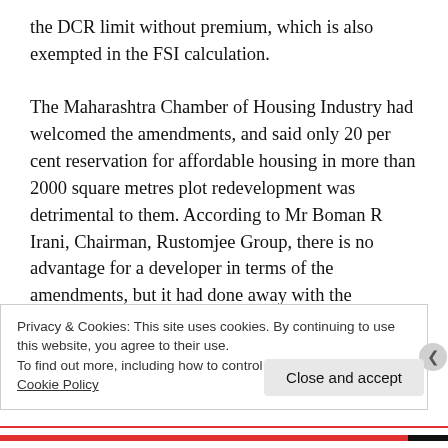the DCR limit without premium, which is also exempted in the FSI calculation.

The Maharashtra Chamber of Housing Industry had welcomed the amendments, and said only 20 per cent reservation for affordable housing in more than 2000 square metres plot redevelopment was detrimental to them. According to Mr Boman R Irani, Chairman, Rustomjee Group, there is no advantage for a developer in terms of the amendments, but it had done away with the discretionary power of the authorities, which makes
Privacy & Cookies: This site uses cookies. By continuing to use this website, you agree to their use.
To find out more, including how to control cookies, see here: Cookie Policy
Close and accept